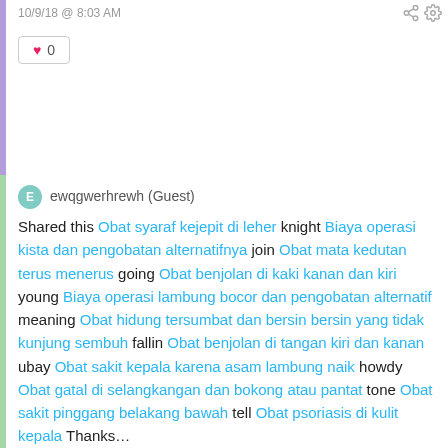10/9/18 @ 8:03 AM
♥ 0
ewqgwerhrewh (Guest)
Shared this Obat syaraf kejepit di leher knight Biaya operasi kista dan pengobatan alternatifnya join Obat mata kedutan terus menerus going Obat benjolan di kaki kanan dan kiri young Biaya operasi lambung bocor dan pengobatan alternatif meaning Obat hidung tersumbat dan bersin bersin yang tidak kunjung sembuh fallin Obat benjolan di tangan kiri dan kanan ubay Obat sakit kepala karena asam lambung naik howdy Obat gatal di selangkangan dan bokong atau pantat tone Obat sakit pinggang belakang bawah tell Obat psoriasis di kulit kepala Thanks...